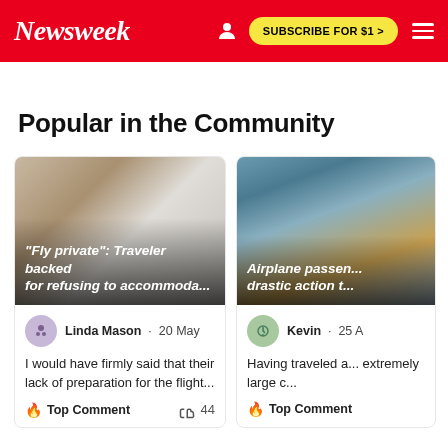Newsweek | SUBSCRIBE FOR $1 >
Popular in the Community
[Figure (photo): Photo of a traveler on an airplane, blurred face, card image with overlay text: "Fly private": Traveler backed for refusing to accommoda...]
Linda Mason · 20 May
I would have firmly said that their lack of preparation for the flight...
🔥 Top Comment   👍 44
[Figure (photo): Photo of an airplane passenger, partially visible, card image with overlay text: Airplane passen... drastic action t...]
Kevin · 25 A
Having traveled a... extremely large c...
🔥 Top Comment